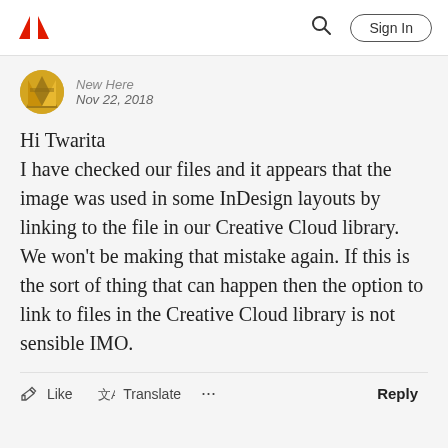Adobe | Sign In
[Figure (other): Adobe logo (red A shape) in top left of navigation bar]
New Here
Nov 22, 2018
Hi Twarita
I have checked our files and it appears that the image was used in some InDesign layouts by linking to the file in our Creative Cloud library. We won't be making that mistake again. If this is the sort of thing that can happen then the option to link to files in the Creative Cloud library is not sensible IMO.
Like  Translate  ...  Reply